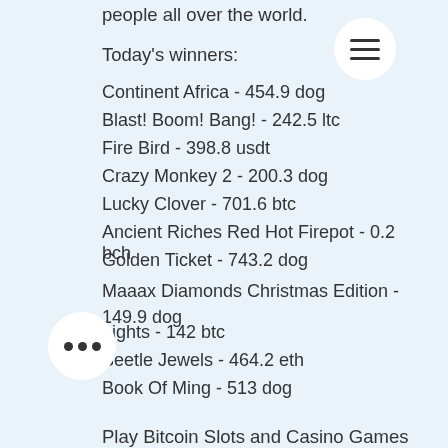people all over the world.
Today's winners:
Continent Africa - 454.9 dog
Blast! Boom! Bang! - 242.5 ltc
Fire Bird - 398.8 usdt
Crazy Monkey 2 - 200.3 dog
Lucky Clover - 701.6 btc
Ancient Riches Red Hot Firepot - 0.2 bch
Golden Ticket - 743.2 dog
Maaax Diamonds Christmas Edition - 149.9 dog
Lights - 142 btc
Beetle Jewels - 464.2 eth
Book Of Ming - 513 dog
Speed Cash - 519.9 ltc
Speed Cash - 497.6 ltc
Miss Red - 212.5 usdt
Samurai Sushi - 620.1 ltc
Play Bitcoin Slots and Casino Games